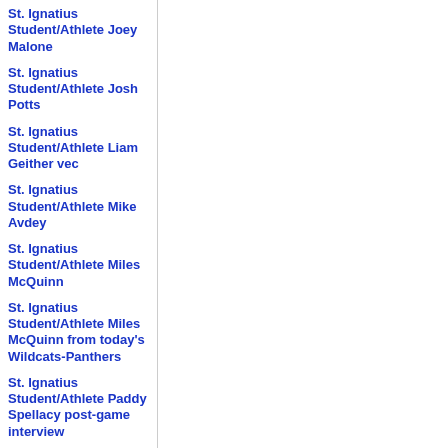St. Ignatius Student/Athlete Joey Malone
St. Ignatius Student/Athlete Josh Potts
St. Ignatius Student/Athlete Liam Geither vec
St. Ignatius Student/Athlete Mike Avdey
St. Ignatius Student/Athlete Miles McQuinn
St. Ignatius Student/Athlete Miles McQuinn from today's Wildcats-Panthers
St. Ignatius Student/Athlete Paddy Spellacy post-game interview
St. Ignatius Student/Athlete Paddy Spellacy, conducted by